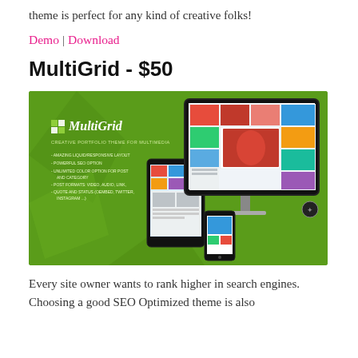theme is perfect for any kind of creative folks!
Demo | Download
MultiGrid - $50
[Figure (screenshot): MultiGrid WordPress theme promotional screenshot showing the theme on desktop monitor, tablet and mobile. Green background with MultiGrid logo, feature list including: Amazing Liquid/Responsive Layout, Powerful SEO Option, Unlimited Color Option for Post and Category, Post Formats: Video, Audio, Link, Quote and Status (Oembed, Twitter, Instagram...)]
Every site owner wants to rank higher in search engines. Choosing a good SEO Optimized theme is also